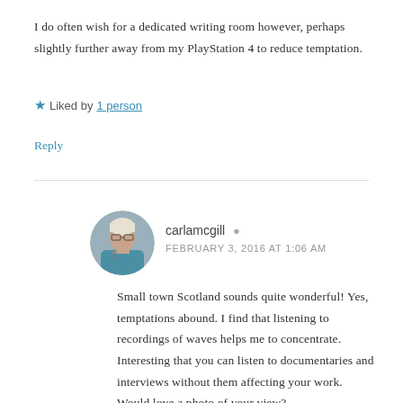I do often wish for a dedicated writing room however, perhaps slightly further away from my PlayStation 4 to reduce temptation.
★ Liked by 1 person
Reply
carlamcgill
FEBRUARY 3, 2016 AT 1:06 AM
Small town Scotland sounds quite wonderful! Yes, temptations abound. I find that listening to recordings of waves helps me to concentrate. Interesting that you can listen to documentaries and interviews without them affecting your work. Would love a photo of your view?